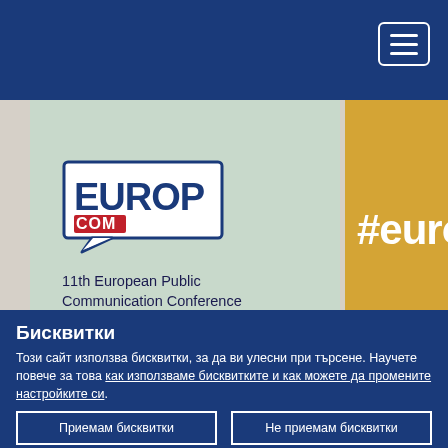[Figure (logo): EuroPCom - 11th European Public Communication Conference logo on light green background, with partial gold panel showing #europco hashtag]
Бисквитки
Този сайт използва бисквитки, за да ви улесни при търсене. Научете повече за това как използваме бисквитките и как можете да промените настройките си.
Приемам бисквитки
Не приемам бисквитки